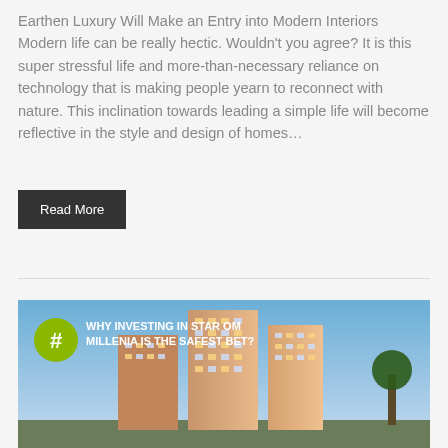Earthen Luxury Will Make an Entry into Modern Interiors Modern life can be really hectic. Wouldn't you agree? It is this super stressful life and more-than-necessary reliance on technology that is making people yearn to reconnect with nature. This inclination towards leading a simple life will become reflective in the style and design of homes…
Read More
[Figure (photo): Apartment building complex with text overlay reading '#WHY INVESTING IN STAR OM MILLENIA IS THE SAFEST BET?' with a green circle hash symbol on the left]